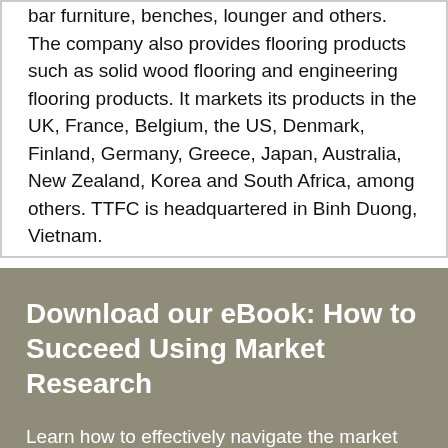bar furniture, benches, lounger and others. The company also provides flooring products such as solid wood flooring and engineering flooring products. It markets its products in the UK, France, Belgium, the US, Denmark, Finland, Germany, Greece, Japan, Australia, New Zealand, Korea and South Africa, among others. TTFC is headquartered in Binh Duong, Vietnam.
Download our eBook: How to Succeed Using Market Research
Learn how to effectively navigate the market research process to help guide your organization on